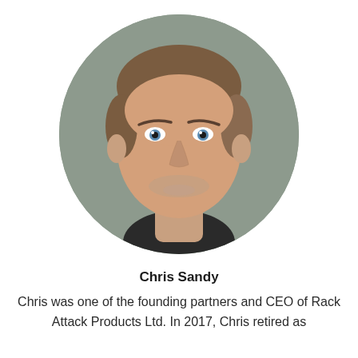[Figure (photo): Circular cropped headshot of Chris Sandy, a middle-aged man with short brown/grey hair, smiling, wearing a dark shirt, against a grey background.]
Chris Sandy
Chris was one of the founding partners and CEO of Rack Attack Products Ltd. In 2017, Chris retired as